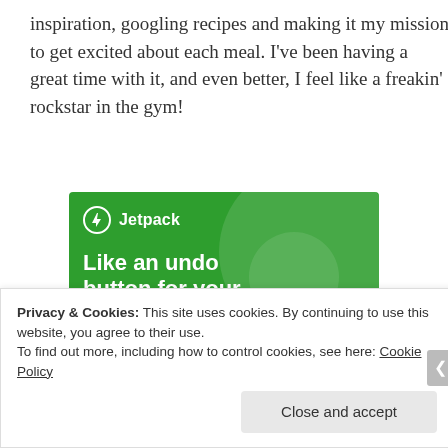inspiration, googling recipes and making it my mission to get excited about each meal. I've been having a great time with it, and even better, I feel like a freakin' rockstar in the gym!
[Figure (screenshot): Jetpack advertisement banner with green background showing 'Like an undo button for your WordPress site' with a 'Back up your site' button]
Privacy & Cookies: This site uses cookies. By continuing to use this website, you agree to their use.
To find out more, including how to control cookies, see here: Cookie Policy